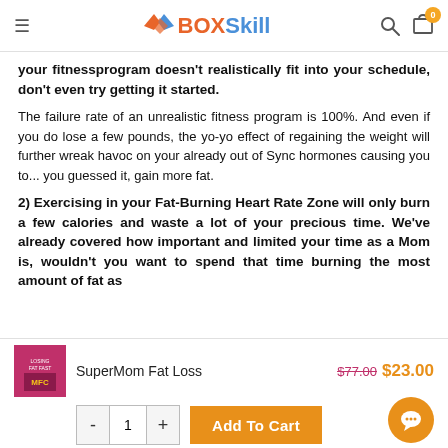BOXSkill
your fitnessprogram doesn't realistically fit into your schedule, don't even try getting it started.
The failure rate of an unrealistic fitness program is 100%. And even if you do lose a few pounds, the yo-yo effect of regaining the weight will further wreak havoc on your already out of Sync hormones causing you to... you guessed it, gain more fat.
2) Exercising in your Fat-Burning Heart Rate Zone will only burn a few calories and waste a lot of your precious time. We've already covered how important and limited your time as a Mom is, wouldn't you want to spend that time burning the most amount of fat as
SuperMom Fat Loss $77.00 $23.00 - 1 + Add To Cart